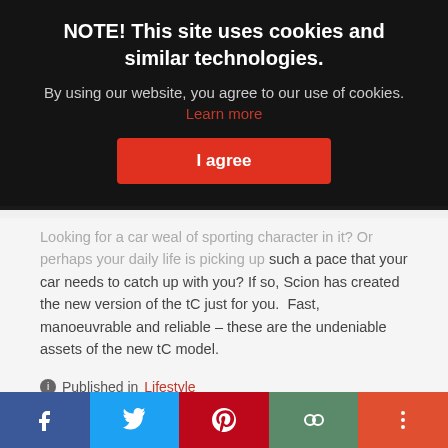[Figure (screenshot): Dark hero image of a car at the top of the page, partially visible behind cookie consent overlay]
NOTE! This site uses cookies and similar technologies.
By using our website, you agree to our use of cookies. Learn more
I agree
Looking for a car with a deal of sporting character in it? Or perhaps your daily life is picking up such a pace that your car needs to catch up with you? If so, Scion has created the new version of the tC just for you. Fast, manoeuvrable and reliable – these are the undeniable assets of the new tC model.
Published in Lifestyle
Tagged under #lifestyle #Auto #Scion #Scion tC #parkour #car
Read more
Social share bar: Facebook, Twitter, Pinterest, Link, More